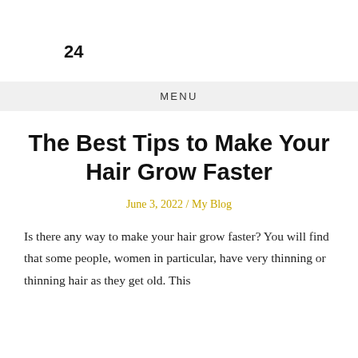[redacted header with logo/navigation] 24 [redacted text]
MENU
The Best Tips to Make Your Hair Grow Faster
June 3, 2022 / My Blog
Is there any way to make your hair grow faster? You will find that some people, women in particular, have very thinning or thinning hair as they get old. This